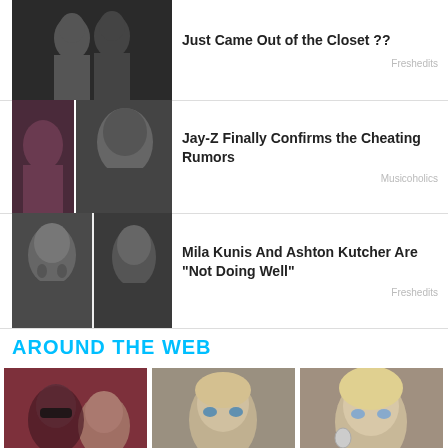[Figure (photo): Black and white close-up photo of two people]
Just Came Out of the Closet ??
Freshedits
[Figure (photo): Jay-Z photo with small inset image]
Jay-Z Finally Confirms the Cheating Rumors
Musicoholics
[Figure (photo): Mila Kunis and another woman side by side]
Mila Kunis And Ashton Kutcher Are "Not Doing Well"
Freshedits
AROUND THE WEB
[Figure (photo): Pete Davidson and Kim Kardashian at event]
The Reported Reason For Kim Kardashian & Pete
[Figure (photo): Kurt Cobain's daughter portrait]
Kurt Cobain's Daughter Is Dating An Unexpected
[Figure (photo): Ivana Trump portrait]
Ivana Trump's Cause Of Death Has Been Revealed